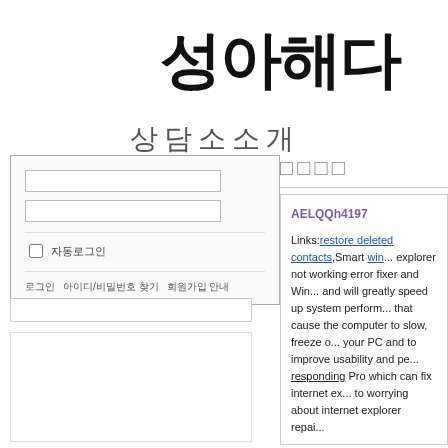성아해다 (Korean handwritten title, partially visible)
상담소소개
[Figure (screenshot): Login form with two input fields (username and password), a remember me checkbox, and links for login help and ID/password recovery]
[Figure (screenshot): Search box below the login form]
[Figure (screenshot): Sidebar content area below search box]
□□□□ (Korean board title, characters shown as squares)
AELQQh4197

Links:restore deleted contacts,Smart win... explorer not working error fixer and Win... and will greatly speed up system perform... that cause the computer to slow, freeze o... your PC and to improve usability and pe... responding Pro which can fix internet ex... to worrying about internet explorer repai...